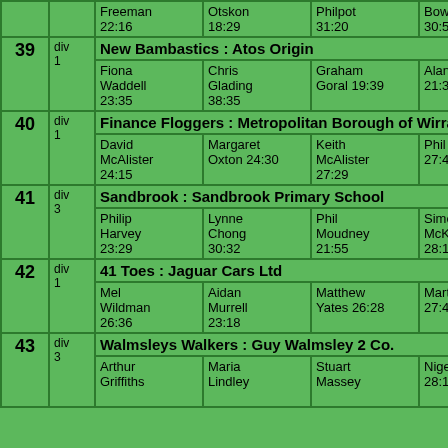| # | div | Runner1 | Runner2 | Runner3 | Runner4 | Runner5 |
| --- | --- | --- | --- | --- | --- | --- |
|  |  | Freeman 22:16 | Otskon 18:29 | Philpot 31:20 | Bowley 30:53 |  |
| 39 | div 1 | New Bambastics : Atos Origin |  |  |  |  |
| 39 | div 1 | Fiona Waddell 23:35 | Chris Glading 38:35 | Graham Goral 19:39 | Alan Bell 21:35 |  |
| 40 | div 1 | Finance Floggers : Metropolitan Borough of Wirral |  |  |  |  |
| 40 | div 1 | David McAlister 24:15 | Margaret Oxton 24:30 | Keith McAlister 27:29 | Phil Mitchell 27:40 |  |
| 41 | div 3 | Sandbrook : Sandbrook Primary School |  |  |  |  |
| 41 | div 3 | Philip Harvey 23:29 | Lynne Chong 30:32 | Phil Moudney 21:55 | Simon McKee 28:10 |  |
| 42 | div 1 | 41 Toes : Jaguar Cars Ltd |  |  |  |  |
| 42 | div 1 | Mel Wildman 26:36 | Aidan Murrell 23:18 | Matthew Yates 26:28 | Martin Rudd 27:49 |  |
| 43 | div 3 | Walmsleys Walkers : Guy Walmsley 2 Co. |  |  |  |  |
| 43 | div 3 | Arthur Griffiths | Maria Lindley | Stuart Massey | Nigel Wynne 28:15 |  |